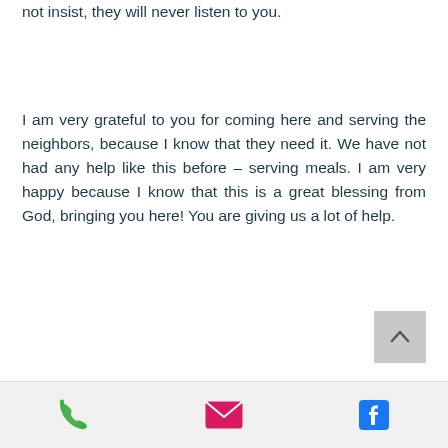not insist, they will never listen to you.
I am very grateful to you for coming here and serving the neighbors, because I know that they need it. We have not had any help like this before – serving meals. I am very happy because I know that this is a great blessing from God, bringing you here! You are giving us a lot of help.
[Figure (other): Scroll to top button with upward chevron arrow on grey background]
Phone icon, Email icon, Facebook icon